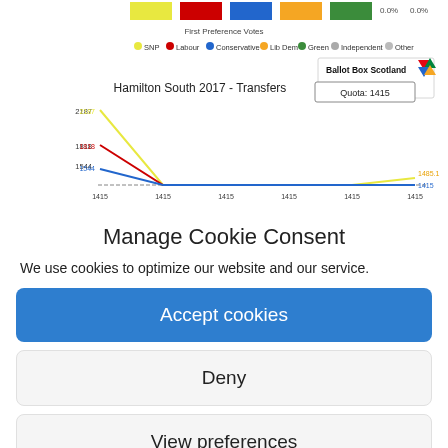[Figure (line-chart): Line chart showing transfer vote counts across rounds for SNP, Labour, Conservative, Lib Dem, Green, Independent, Other parties. Quota: 1415.]
Manage Cookie Consent
We use cookies to optimize our website and our service.
Accept cookies
Deny
View preferences